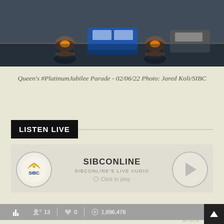[Figure (photo): Police motorcycles with headlights on leading a procession, with a blue police vehicle behind them on a wet road. Scene from Queen's Platinum Jubilee Parade.]
Queen's #PlatinumJubilee Parade - 02/06/22 Photo: Jared Koli/SIBC
LISTEN LIVE
[Figure (screenshot): SIBC online radio player widget showing SIBCONLINE station with play button, SIBCONLINE'S LIVE AUDIO label, and Click to play prompt. Stats bar shows 13 listeners, 0 hearts, 1,896,478 plays. Mixlr branding at bottom.]